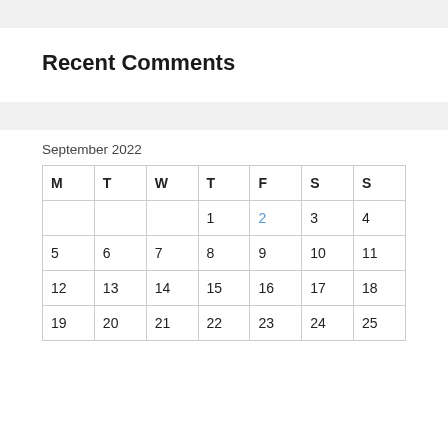Recent Comments
| M | T | W | T | F | S | S |
| --- | --- | --- | --- | --- | --- | --- |
|  |  |  | 1 | 2 | 3 | 4 |
| 5 | 6 | 7 | 8 | 9 | 10 | 11 |
| 12 | 13 | 14 | 15 | 16 | 17 | 18 |
| 19 | 20 | 21 | 22 | 23 | 24 | 25 |